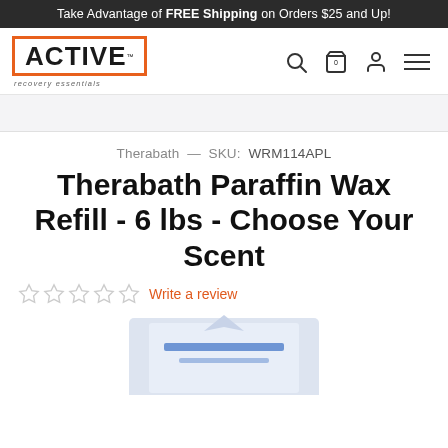Take Advantage of FREE Shipping on Orders $25 and Up!
[Figure (logo): ACTIVE recovery essentials logo with orange border]
Therabath — SKU: WRM114APL
Therabath Paraffin Wax Refill - 6 lbs - Choose Your Scent
Write a review
[Figure (photo): Therabath paraffin wax refill product box, partially visible at bottom of page]